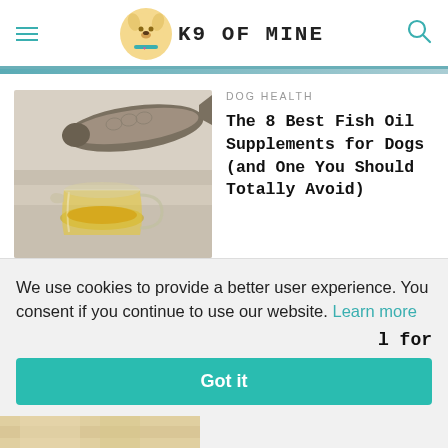K9 OF MINE
DOG HEALTH
The 8 Best Fish Oil Supplements for Dogs (and One You Should Totally Avoid)
[Figure (photo): Photo of fish and a glass pitcher of golden fish oil on a wooden surface]
We use cookies to provide a better user experience. You consent if you continue to use our website. Learn more
l for
Got it
[Figure (photo): Partial view of a tan/cream colored surface at the bottom of the page]